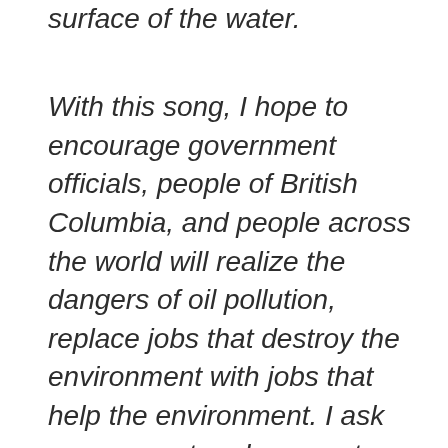surface of the water.
With this song, I hope to encourage government officials, people of British Columbia, and people across the world will realize the dangers of oil pollution, replace jobs that destroy the environment with jobs that help the environment. I ask government and corporate officials such as yourselves change your plans stop oil